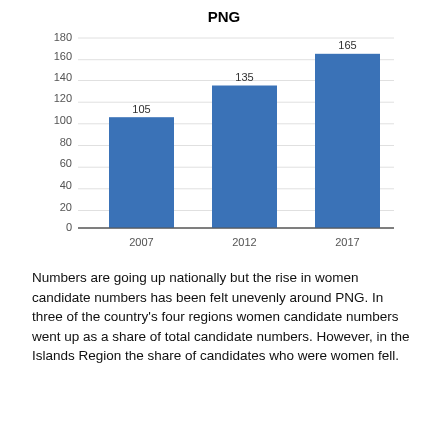PNG
[Figure (bar-chart): PNG]
Numbers are going up nationally but the rise in women candidate numbers has been felt unevenly around PNG. In three of the country's four regions women candidate numbers went up as a share of total candidate numbers. However, in the Islands Region the share of candidates who were women fell.